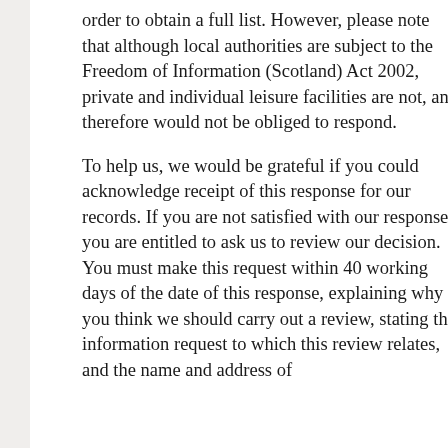order to obtain a full list. However, please note that although local authorities are subject to the Freedom of Information (Scotland) Act 2002, private and individual leisure facilities are not, and therefore would not be obliged to respond.
To help us, we would be grateful if you could acknowledge receipt of this response for our records. If you are not satisfied with our response, you are entitled to ask us to review our decision. You must make this request within 40 working days of the date of this response, explaining why you think we should carry out a review, stating the information request to which this review relates, and the name and address of